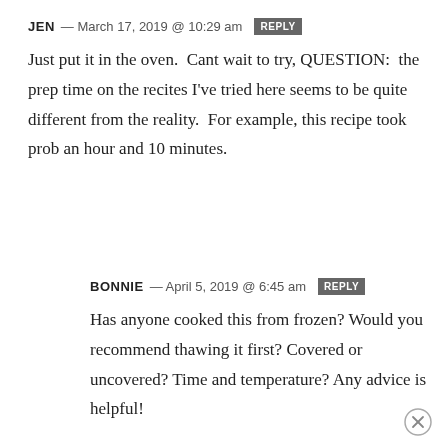JEN — March 17, 2019 @ 10:29 am REPLY
Just put it in the oven. Cant wait to try, QUESTION: the prep time on the recites I've tried here seems to be quite different from the reality. For example, this recipe took prob an hour and 10 minutes.
BONNIE — April 5, 2019 @ 6:45 am REPLY
Has anyone cooked this from frozen? Would you recommend thawing it first? Covered or uncovered? Time and temperature? Any advice is helpful!